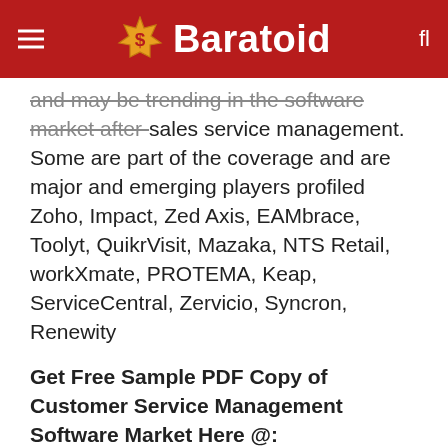Baratoid
and may be trending in the software market after-sales service management. Some are part of the coverage and are major and emerging players profiled Zoho, Impact, Zed Axis, EAMbrace, Toolyt, QuikrVisit, Mazaka, NTS Retail, workXmate, PROTEMA, Keap, ServiceCentral, Zervicio, Syncron, Renewity
Get Free Sample PDF Copy of Customer Service Management Software Market Here @: marketreports.info/sample/50571/After-Sales-Service-Management-Software
Import and export policies that may have an immediate impact on the Global Field Service Management Software Market. This study inc EXIM* related chapters for all concerned